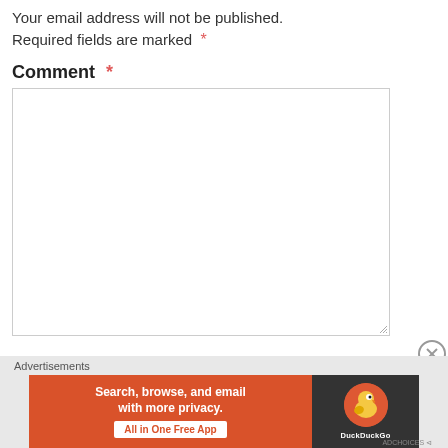Your email address will not be published. Required fields are marked *
Comment *
[Figure (other): Empty comment text area input box with resize handle]
Advertisements
[Figure (other): DuckDuckGo advertisement banner: Search, browse, and email with more privacy. All in One Free App. DuckDuckGo logo on dark background.]